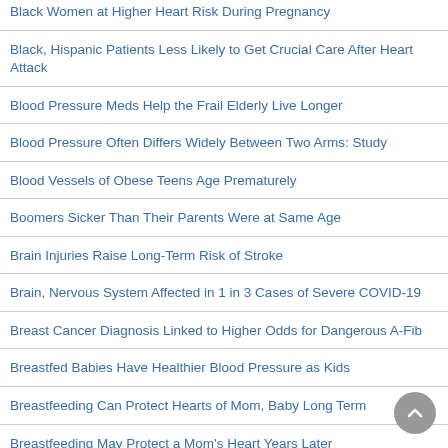Black Women at Higher Heart Risk During Pregnancy
Black, Hispanic Patients Less Likely to Get Crucial Care After Heart Attack
Blood Pressure Meds Help the Frail Elderly Live Longer
Blood Pressure Often Differs Widely Between Two Arms: Study
Blood Vessels of Obese Teens Age Prematurely
Boomers Sicker Than Their Parents Were at Same Age
Brain Injuries Raise Long-Term Risk of Stroke
Brain, Nervous System Affected in 1 in 3 Cases of Severe COVID-19
Breast Cancer Diagnosis Linked to Higher Odds for Dangerous A-Fib
Breastfed Babies Have Healthier Blood Pressure as Kids
Breastfeeding Can Protect Hearts of Mom, Baby Long Term
Breastfeeding May Protect a Mom's Heart Years Later